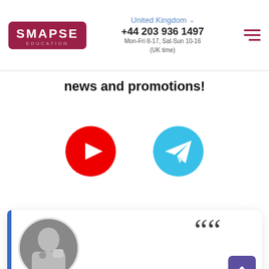[Figure (logo): Smapse Education logo – dark red/maroon rounded rectangle with white text]
United Kingdom ▾
+44 203 936 1497
Mon-Fri 8-17, Sat-Sun 10-16
(UK time)
[Figure (illustration): Hamburger menu icon (three horizontal dark red lines)]
news and promotions!
[Figure (illustration): YouTube icon – red circle with white play button triangle]
[Figure (illustration): Telegram icon – cyan/light blue circle with white paper plane]
[Figure (illustration): WhatsApp phone green circle icon floating on left]
[Figure (illustration): WhatsApp chat green circle icon floating on left]
[Figure (illustration): Testimonial card with blue left bar, large quote marks, circular avatar photo of a man, purple up-arrow button]
Current material has been prepared by Egor